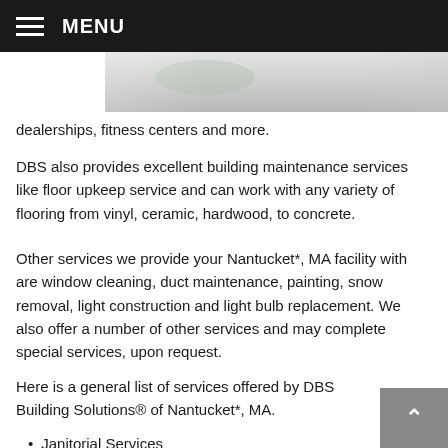MENU
[Figure (photo): Partial interior ceiling/building photo strip at top of content area]
dealerships, fitness centers and more.
DBS also provides excellent building maintenance services like floor upkeep service and can work with any variety of flooring from vinyl, ceramic, hardwood, to concrete.
Other services we provide your Nantucket*, MA facility with are window cleaning, duct maintenance, painting, snow removal, light construction and light bulb replacement. We also offer a number of other services and may complete special services, upon request.
Here is a general list of services offered by DBS Building Solutions® of Nantucket*, MA.
Janitorial Services